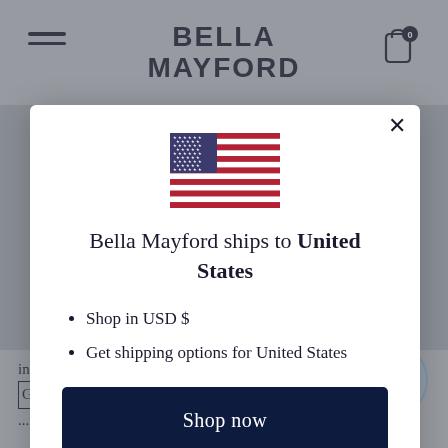[Figure (screenshot): Background website header with Bella Mayford logo, hamburger menu, and cart icon with badge showing 0]
[Figure (illustration): US flag SVG inside modal dialog]
Bella Mayford ships to United States
Shop in USD $
Get shipping options for United States
Shop now
Change shipping country
in no case shall Bella Mayford, our directors, officers, GBRployees, affiliates, agents, contractors, interns, suppliers, ...ble for any...